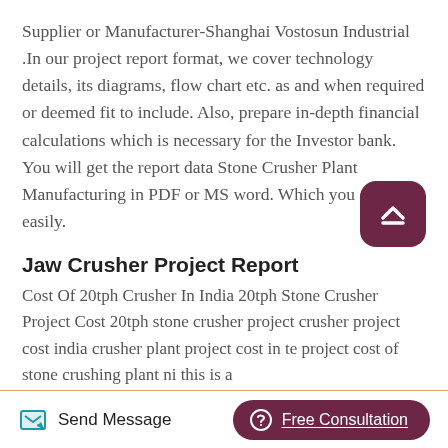Supplier or Manufacturer-Shanghai Vostosun Industrial .In our project report format, we cover technology details, its diagrams, flow chart etc. as and when required or deemed fit to include. Also, prepare in-depth financial calculations which is necessary for the Investor bank. You will get the report data Stone Crusher Plant Manufacturing in PDF or MS word. Which you can use easily.
Jaw Crusher Project Report
Cost Of 20tph Crusher In India 20tph Stone Crusher Project Cost 20tph stone crusher project crusher project cost india crusher plant project cost in te project cost of stone crushing plant ni this is a